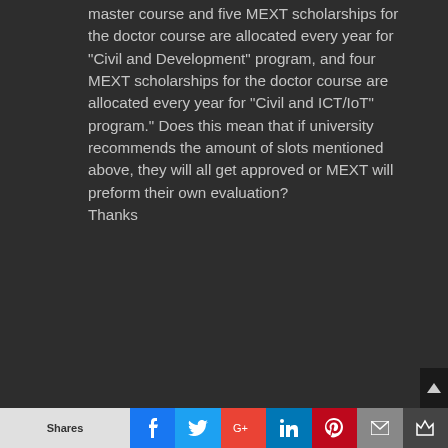master course and five MEXT scholarships for the doctor course are allocated every year for “Civil and Development” program, and four MEXT scholarships for the doctor course are allocated every year for “Civil and ICT/IoT” program.” Does this mean that if university recommends the amount of slots mentioned above, they will all get approved or MEXT will preform their own evaluation?
Thanks
Shares